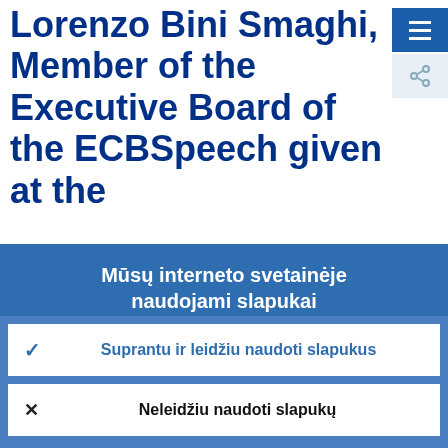Lorenzo Bini Smaghi, Member of the Executive Board of the ECBSpeech given at the
Mūsų interneto svetainėje naudojami slapukai
Nuolat stengiamės, kad mūsų interneto svetainė lankytojams būtų patogesnė. Tam naudojame slapukų surinktus anoniminius duomenis.
› Sužinokite daugiau, kaip naudojame slapukus
✓ Suprantu ir leidžiu naudoti slapukus
✕ Neleidžiu naudoti slapukų